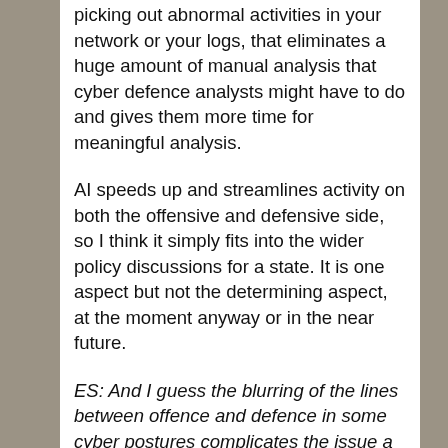picking out abnormal activities in your network or your logs, that eliminates a huge amount of manual analysis that cyber defence analysts might have to do and gives them more time for meaningful analysis.
AI speeds up and streamlines activity on both the offensive and defensive side, so I think it simply fits into the wider policy discussions for a state. It is one aspect but not the determining aspect, at the moment anyway or in the near future.
ES: And I guess the blurring of the lines between offence and defence in some cyber postures complicates the issue a little?
AE: Yes, especially when you look at the US and the way they define persistent engagement and